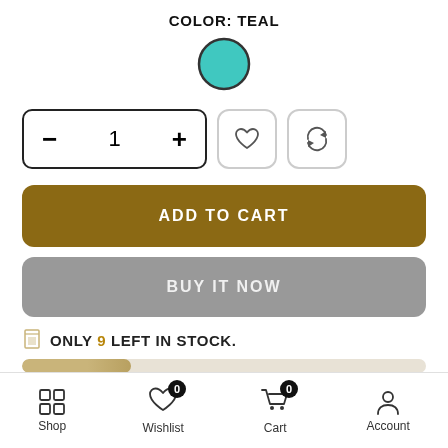COLOR: TEAL
[Figure (illustration): Teal filled circle with dark border, representing the selected color swatch]
[Figure (infographic): Quantity selector showing minus, 1, plus buttons; heart icon button; refresh/repeat icon button]
ADD TO CART
BUY IT NOW
ONLY 9 LEFT IN STOCK.
[Figure (infographic): Horizontal progress bar showing approximately 27% fill in tan/gold color on beige background]
GUARANTEED SAFE CHECKOUT
Shop  Wishlist  Cart  Account